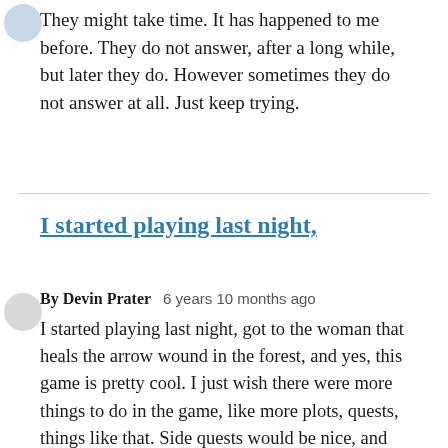They might take time. It has happened to me before. They do not answer, after a long while, but later they do. However sometimes they do not answer at all. Just keep trying.
I started playing last night,
By Devin Prater   6 years 10 months ago
I started playing last night, got to the woman that heals the arrow wound in the forest, and yes, this game is pretty cool. I just wish there were more things to do in the game, like more plots, quests, things like that. Side quests would be nice, and being able to collect things, like better weapons for use against those pesky